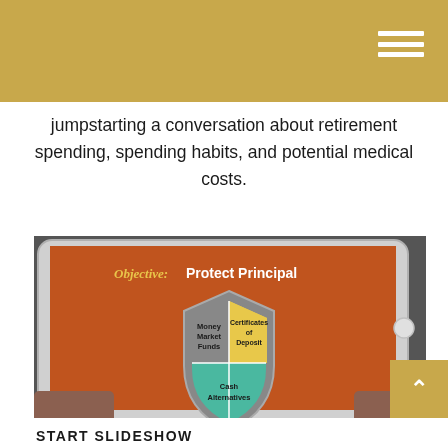jumpstarting a conversation about retirement spending, spending habits, and potential medical costs.
[Figure (screenshot): A tablet device being held showing a slideshow presentation slide titled 'Objective: Protect Principal' with a shield graphic containing three sections: Money Market Funds, Certificates of Deposit, and Cash Alternatives. The slide has an orange/brown background.]
START SLIDESHOW